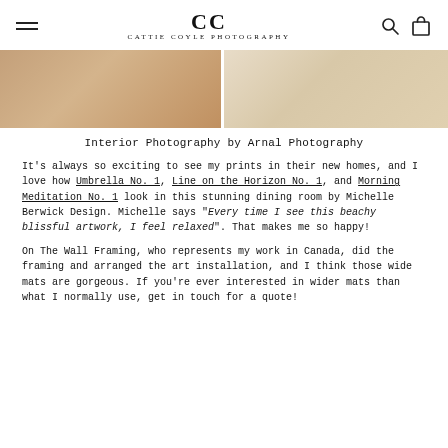CC CATTIE COYLE PHOTOGRAPHY
[Figure (photo): Two interior photos showing wooden chairs and furniture with leather sling seats and light wood floors, side by side.]
Interior Photography by Arnal Photography
It's always so exciting to see my prints in their new homes, and I love how Umbrella No. 1, Line on the Horizon No. 1, and Morning Meditation No. 1 look in this stunning dining room by Michelle Berwick Design. Michelle says "Every time I see this beachy blissful artwork, I feel relaxed". That makes me so happy!
On The Wall Framing, who represents my work in Canada, did the framing and arranged the art installation, and I think those wide mats are gorgeous. If you're ever interested in wider mats than what I normally use, get in touch for a quote!